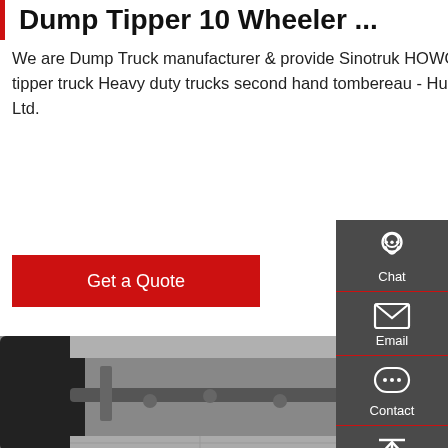Dump Tipper 10 Wheeler ...
We are Dump Truck manufacturer & provide Sinotruk HOWO 10x6 6x4 10 Wheels 20 tons LHD new dump tipper truck Heavy duty trucks second hand tombereau - Hubei Zhongzhong Huawei import and Export Co., Ltd.
Get a Quote
[Figure (photo): Undercarriage view of a heavy-duty dump truck showing rear axle, differential, suspension, and large off-road tires on a paved surface]